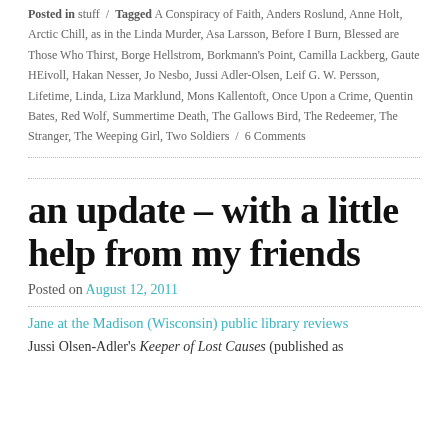Posted in stuff / Tagged A Conspiracy of Faith, Anders Roslund, Anne Holt, Arctic Chill, as in the Linda Murder, Asa Larsson, Before I Burn, Blessed are Those Who Thirst, Borge Hellstrom, Borkmann's Point, Camilla Lackberg, Gaute HEivoll, Hakan Nesser, Jo Nesbo, Jussi Adler-Olsen, Leif G. W. Persson, Lifetime, Linda, Liza Marklund, Mons Kallentoft, Once Upon a Crime, Quentin Bates, Red Wolf, Summertime Death, The Gallows Bird, The Redeemer, The Stranger, The Weeping Girl, Two Soldiers / 6 Comments
an update – with a little help from my friends
Posted on August 12, 2011
Jane at the Madison (Wisconsin) public library reviews
Jussi Olsen-Adler's Keeper of Lost Causes (published as